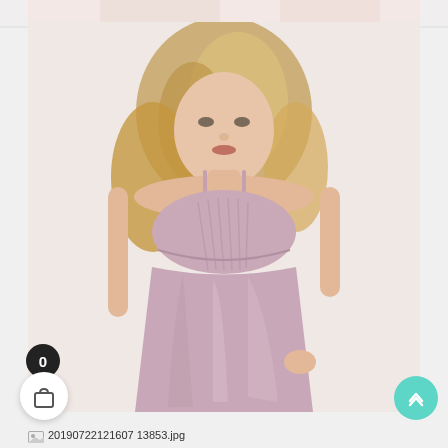[Figure (photo): A blonde woman wearing a short dusty pink/mauve satin slip dress with thin spaghetti straps and a ruched bustier-style bodice. She is posing against a pale background. The dress is satin/silky fabric in a pinkish-mauve color.]
20190722121607 13853.jpg